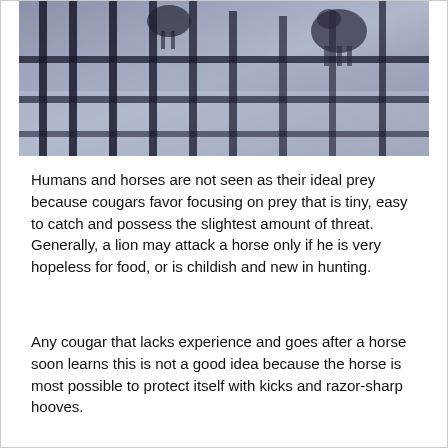[Figure (photo): Grayscale/bluish-tinted security camera or night-vision footage showing animals (possibly horses or large animals) near a fence or railing structure.]
Humans and horses are not seen as their ideal prey because cougars favor focusing on prey that is tiny, easy to catch and possess the slightest amount of threat. Generally, a lion may attack a horse only if he is very hopeless for food, or is childish and new in hunting.
Any cougar that lacks experience and goes after a horse soon learns this is not a good idea because the horse is most possible to protect itself with kicks and razor-sharp hooves.